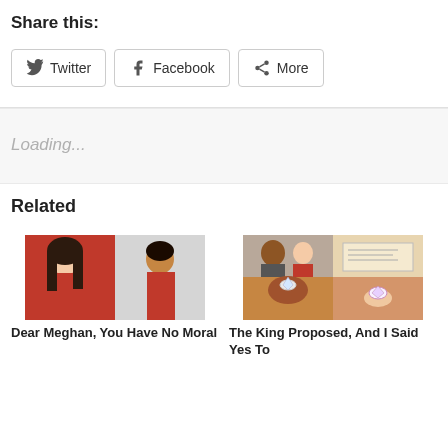Share this:
Twitter  Facebook  More
Loading...
Related
[Figure (photo): Collage of two women — one with long dark hair in red, one in red top — related article image for 'Dear Meghan, You Have No Moral']
Dear Meghan, You Have No Moral
[Figure (photo): Collage of engagement ring and couple photos — related article image for 'The King Proposed, And I Said Yes To']
The King Proposed, And I Said Yes To